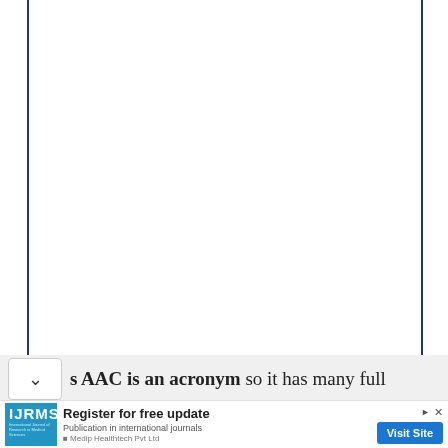[Figure (other): Blank white document page area with dark blue vertical border lines on left and right sides, representing a scanned journal page with no visible content in this crop.]
s AAC is an acronym so it has many full
[Figure (other): Advertisement banner for IJRMS (International Journal of Research in Medical Sciences) by Medip Healthtech Pvt Ltd. Contains blue logo box, 'Register for free update' heading, 'Publication in international journals' subtext, and a blue 'Visit Site' button.]